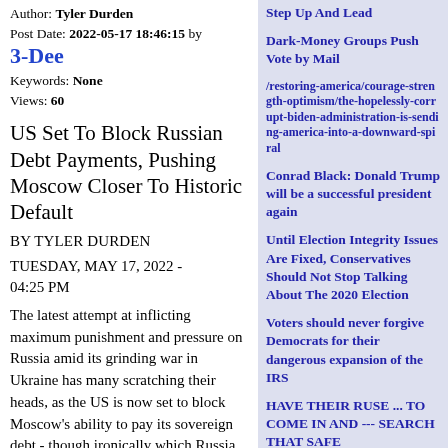Author: Tyler Durden
Post Date: 2022-05-17 18:46:15 by 3-Dee
Keywords: None
Views: 60
US Set To Block Russian Debt Payments, Pushing Moscow Closer To Historic Default
BY TYLER DURDEN
TUESDAY, MAY 17, 2022 - 04:25 PM
The latest attempt at inflicting maximum punishment and pressure on Russia amid its grinding war in Ukraine has many scratching their heads, as the US is now set to block Moscow's ability to pay its sovereign debt - though ironically which Russia appears ready and willing to pay, if it weren't for the far-reaching US-led sanctions...
Step Up And Lead
Dark-Money Groups Push Vote by Mail
/restoring-america/courage-strength-optimism/the-hopelessly-corrupt-biden-administration-is-sending-america-into-a-downward-spiral
Conrad Black: Donald Trump will be a successful president again
Until Election Integrity Issues Are Fixed, Conservatives Should Not Stop Talking About The 2020 Election
Voters should never forgive Democrats for their dangerous expansion of the IRS
HAVE THEIR RUSE ... TO COME IN AND --- SEARCH THAT SAFE